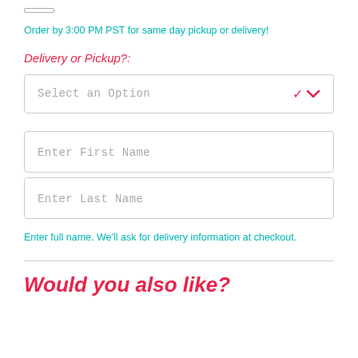Order by 3:00 PM PST for same day pickup or delivery!
Delivery or Pickup?:
Select an Option
Enter First Name
Enter Last Name
Enter full name. We'll ask for delivery information at checkout.
Would you also like?